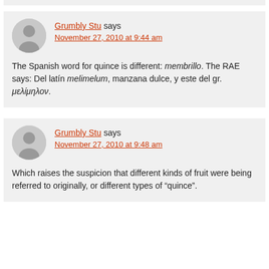Grumbly Stu says November 27, 2010 at 9:44 am
The Spanish word for quince is different: membrillo. The RAE says: Del latín melimelum, manzana dulce, y este del gr. μελίμηλον.
Grumbly Stu says November 27, 2010 at 9:48 am
Which raises the suspicion that different kinds of fruit were being referred to originally, or different types of "quince".